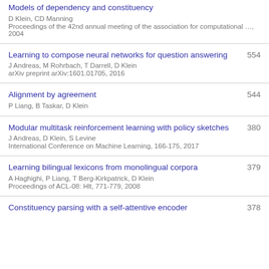Models of dependency and constituency
D Klein, CD Manning
Proceedings of the 42nd annual meeting of the association for computational …, 2004
Learning to compose neural networks for question answering
J Andreas, M Rohrbach, T Darrell, D Klein
arXiv preprint arXiv:1601.01705, 2016
554
Alignment by agreement
P Liang, B Taskar, D Klein
544
Modular multitask reinforcement learning with policy sketches
J Andreas, D Klein, S Levine
International Conference on Machine Learning, 166-175, 2017
380
Learning bilingual lexicons from monolingual corpora
A Haghighi, P Liang, T Berg-Kirkpatrick, D Klein
Proceedings of ACL-08: Hlt, 771-779, 2008
379
Constituency parsing with a self-attentive encoder
378